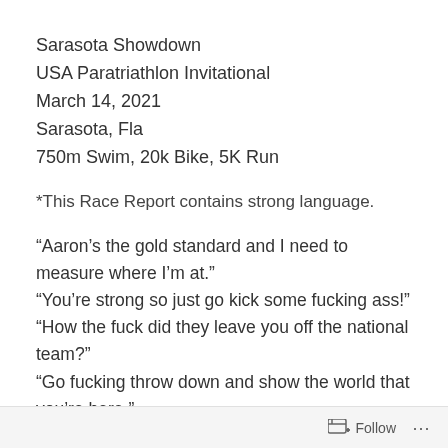Sarasota Showdown
USA Paratriathlon Invitational
March 14, 2021
Sarasota, Fla
750m Swim, 20k Bike, 5K Run
*This Race Report contains strong language.
“Aaron’s the gold standard and I need to measure where I’m at.”
“You’re strong so just go kick some fucking ass!”
“How the fuck did they leave you off the national team?”
“Go fucking throw down and show the world that you’re here.”
Follow ...